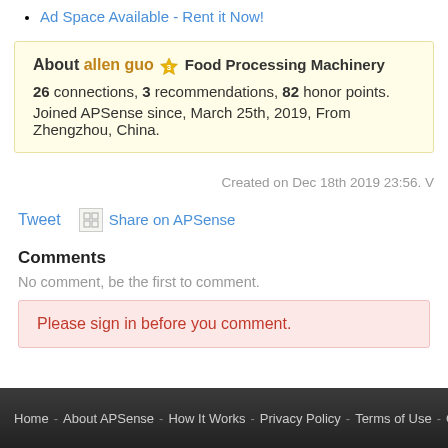Ad Space Available - Rent it Now!
About allen guo ⭐ Food Processing Machinery
26 connections, 3 recommendations, 82 honor points.
Joined APSense since, March 25th, 2019, From Zhengzhou, China.
Created on Dec 18th 2019 23:56. V
Tweet   Share on APSense
Comments
No comment, be the first to comment.
Please sign in before you comment.
Home - About APSense - How It Works - Privacy Policy - Terms of Use - Contact Us